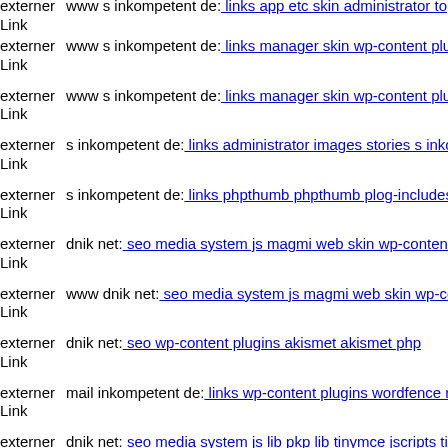externer Link  www s inkompetent de: links app etc skin administrator to...
externer Link  www s inkompetent de: links manager skin wp-content plug...
externer Link  www s inkompetent de: links manager skin wp-content plug...
externer Link  s inkompetent de: links administrator images stories s inkom...
externer Link  s inkompetent de: links phpthumb phpthumb plog-includes...
externer Link  dnik net: seo media system js magmi web skin wp-content t...
externer Link  www dnik net: seo media system js magmi web skin wp-co...
externer Link  dnik net: seo wp-content plugins akismet akismet php
externer Link  mail inkompetent de: links wp-content plugins wordfence r...
externer Link  dnik net: seo media system js lib pkp lib tinymce jscripts tin...
externer Link  www dnik net: seo administratorme
externer Link  www dnik net: seo assets admin js plugins tinymce